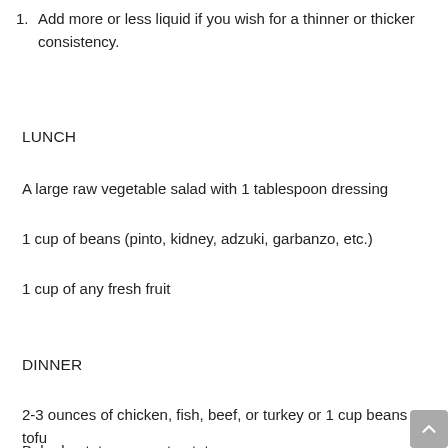1. Add more or less liquid if you wish for a thinner or thicker consistency.
LUNCH
A large raw vegetable salad with 1 tablespoon dressing
1 cup of beans (pinto, kidney, adzuki, garbanzo, etc.)
1 cup of any fresh fruit
DINNER
2-3 ounces of chicken, fish, beef, or turkey or 1 cup beans or tofu
Baked potato or sweet potato